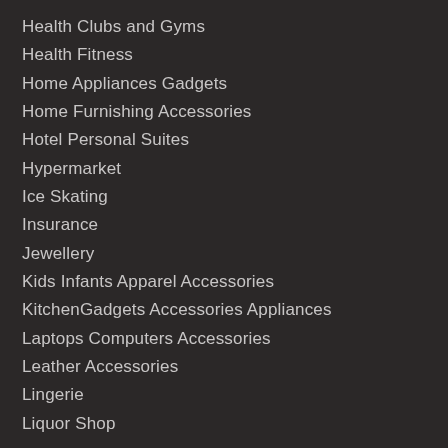Health Clubs and Gyms
Health Fitness
Home Appliances Gadgets
Home Furnishing Accessories
Hotel Personal Suites
Hypermarket
Ice Skating
Insurance
Jewellery
Kids Infants Apparel Accessories
KitchenGadgets Accessories Appliances
Laptops Computers Accessories
Leather Accessories
Lingerie
Liquor Shop